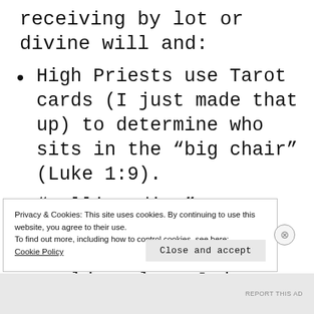receiving by lot or divine will and:
High Priests use Tarot cards (I just made that up) to determine who sits in the “big chair” (Luke 1:9).
“Rolling dice” to determine whether Matthais or Barnabus would replace Judas as an
Privacy & Cookies: This site uses cookies. By continuing to use this website, you agree to their use.
To find out more, including how to control cookies, see here:
Cookie Policy
Close and accept